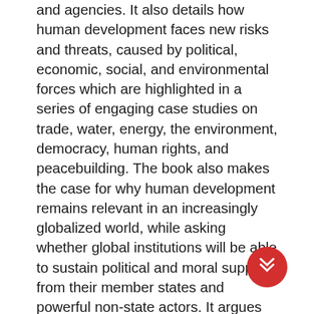and agencies. It also details how human development faces new risks and threats, caused by political, economic, social, and environmental forces which are highlighted in a series of engaging case studies on trade, water, energy, the environment, democracy, human rights, and peacebuilding. The book also makes the case for why human development remains relevant in an increasingly globalized world, while asking whether global institutions will be able to sustain political and moral support from their member states and powerful non-state actors. It argues that fresh new perspectives on human development are now urgently needed to fill critical gaps across borders and entire regions. A positive, forward-looking agenda for the future of global governance would have to engage with new issues such as the Sustainable Development Goals, energy transitions, resource scarcity, and